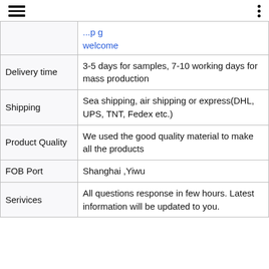Navigation icons (hamburger menu and dots menu)
|  |  |
| --- | --- |
|  | ...page welcome |
| Delivery time | 3-5 days for samples, 7-10 working days for mass production |
| Shipping | Sea shipping, air shipping or express(DHL, UPS, TNT, Fedex etc.) |
| Product Quality | We used the good quality material to make all the products |
| FOB Port | Shanghai ,Yiwu |
| Serivices | All questions response in few hours. Latest information will be updated to you. |